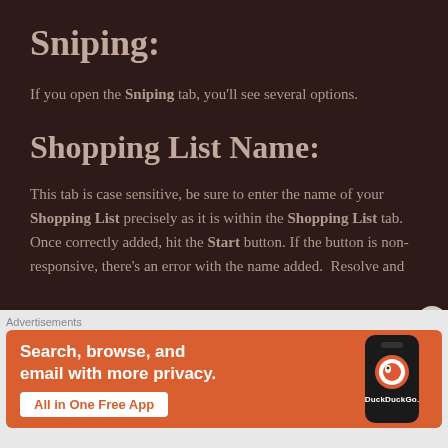Sniping:
If you open the Sniping tab, you'll see several options.
Shopping List Name:
This tab is case sensitive, be sure to enter the name of your Shopping List precisely as it is within the Shopping List tab. Once correctly added, hit the Start button. If the button is non-responsive, there's an error with the name added. Resolve and
[Figure (infographic): DuckDuckGo advertisement banner with orange background showing 'Search, browse, and email with more privacy. All in One Free App' text and a phone showing the DuckDuckGo logo]